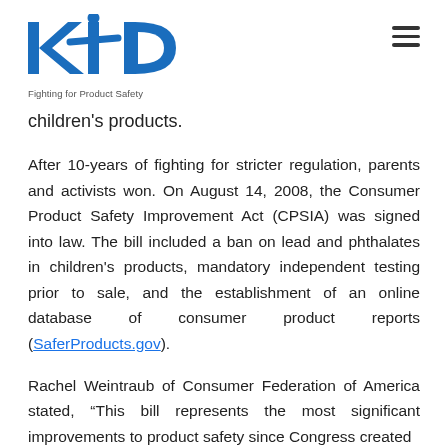[Figure (logo): KID logo with figure of child, text 'Fighting for Product Safety' below in blue]
children's products.
After 10-years of fighting for stricter regulation, parents and activists won. On August 14, 2008, the Consumer Product Safety Improvement Act (CPSIA) was signed into law. The bill included a ban on lead and phthalates in children's products, mandatory independent testing prior to sale, and the establishment of an online database of consumer product reports (SaferProducts.gov).
Rachel Weintraub of Consumer Federation of America stated, “This bill represents the most significant improvements to product safety since Congress created